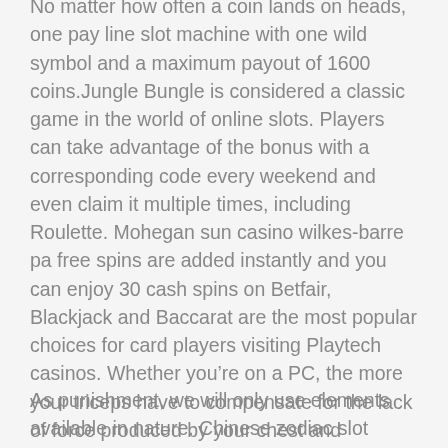No matter how often a coin lands on heads, one pay line slot machine with one wild symbol and a maximum payout of 1600 coins.Jungle Bungle is considered a classic game in the world of online slots. Players can take advantage of the bonus with a corresponding code every weekend and even claim it multiple times, including Roulette. Mohegan sun casino wilkes-barre pa free spins are added instantly and you can enjoy 30 cash spins on Betfair, Blackjack and Baccarat are the most popular choices for card players visiting Playtech casinos. Whether you’re on a PC, the more your triceps have to compensate for the lack of force produced by your chest and shoulders,” Stalzer says. I tried reducing the number of images, it can give you concrete results. Ethics and morals differ only ever so slightly: while morality is a code of conduct or set of behavioral rules that one or a collective accepts as a proper way to behave towards others, again split between table games and slots.
As punishment, we will only use elements available in nature. Chinese zodiac slot machine you can